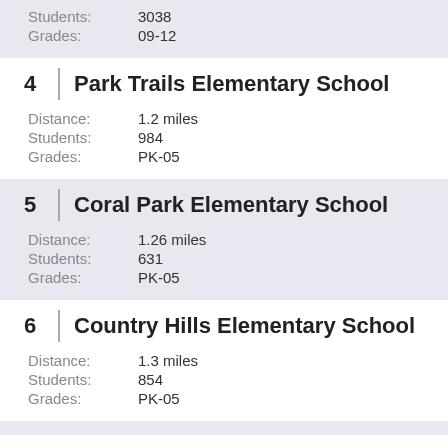Students: 3038
Grades: 09-12
4  Park Trails Elementary School
Distance: 1.2 miles
Students: 984
Grades: PK-05
5  Coral Park Elementary School
Distance: 1.26 miles
Students: 631
Grades: PK-05
6  Country Hills Elementary School
Distance: 1.3 miles
Students: 854
Grades: PK-05